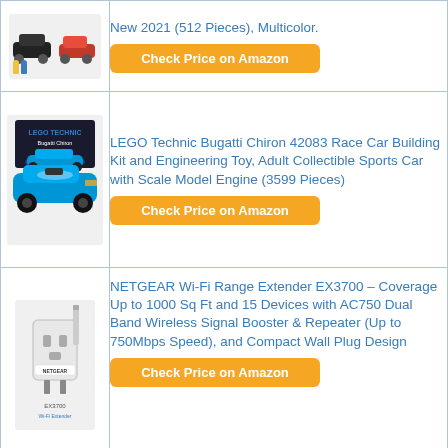| Image | Product |
| --- | --- |
| [LEGO Cars image] | New 2021 (512 Pieces), Multicolor.
Check Price on Amazon |
| [LEGO Bugatti image] | LEGO Technic Bugatti Chiron 42083 Race Car Building Kit and Engineering Toy, Adult Collectible Sports Car with Scale Model Engine (3599 Pieces)
Check Price on Amazon |
| [NETGEAR image] | NETGEAR Wi-Fi Range Extender EX3700 – Coverage Up to 1000 Sq Ft and 15 Devices with AC750 Dual Band Wireless Signal Booster & Repeater (Up to 750Mbps Speed), and Compact Wall Plug Design
Check Price on Amazon |